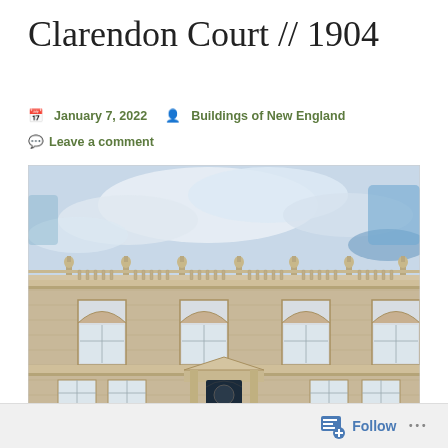Clarendon Court // 1904
January 7, 2022   Buildings of New England
Leave a comment
[Figure (photo): Photograph of Clarendon Court, a Beaux-Arts mansion built in 1904, showing its neoclassical stone facade with arched windows, balustrade roofline with decorative finials, and a portico entrance, photographed against a partly cloudy sky.]
Follow ...